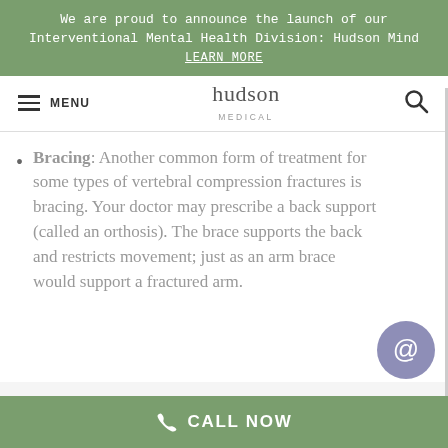We are proud to announce the launch of our Interventional Mental Health Division: Hudson Mind
LEARN MORE
[Figure (screenshot): Hudson Medical website navigation bar with hamburger menu icon, MENU label, Hudson Medical logo in center, and search icon on right]
Bracing: Another common form of treatment for some types of vertebral compression fractures is bracing. Your doctor may prescribe a back support (called an orthosis). The brace supports the back and restricts movement; just as an arm brace would support a fractured arm.
CALL NOW